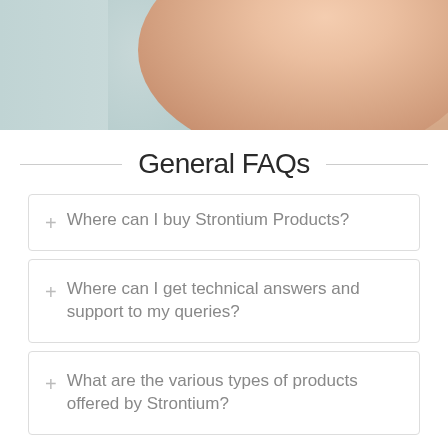[Figure (photo): Close-up photo of a person's face (nose and cheek area visible) with a light grey-green background on the left side]
General FAQs
Where can I buy Strontium Products?
Where can I get technical answers and support to my queries?
What are the various types of products offered by Strontium?